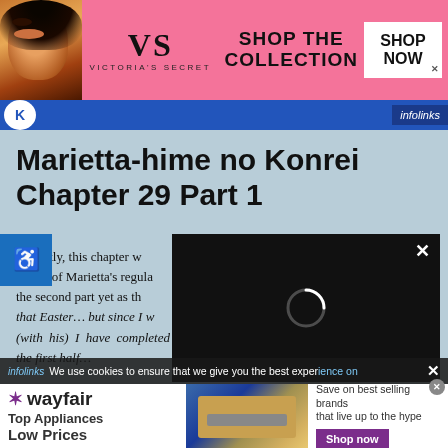[Figure (infographic): Victoria's Secret advertisement banner with model, VS logo, 'SHOP THE COLLECTION' text, and 'SHOP NOW' button on pink background]
[Figure (infographic): infolinks badge on dark blue bar]
Marietta-hime no Konrei Chapter 29 Part 1
[Figure (infographic): Blue accessibility icon square]
[Figure (infographic): Black video overlay with loading spinner and X close button]
Honestly, this chapter w... length of Marietta's regula... the second part yet as th... that Easter... but since I w... (with his) I have completed the first half...
We use cookies to ensure that we give you the best experience on
[Figure (infographic): Wayfair advertisement: Top Appliances Low Prices, stove image, Save on best selling brands that live up to the hype, Shop now button]